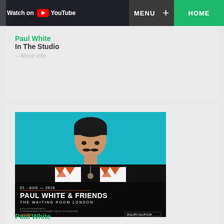[Figure (screenshot): YouTube 'Watch on YouTube' button/banner overlay in dark background]
MENU + HOME
Paul White
In The Studio
—More info
[Figure (photo): Concert poster for Paul White & Friends at The Waiting Room London, 01-AUG-2018. Shows a man in a patterned orange and white jacket against a teal background. Dollop presentation, dollop.com]
Paul White